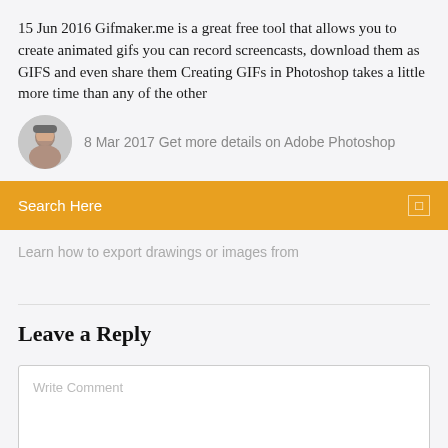15 Jun 2016 Gifmaker.me is a great free tool that allows you to create animated gifs you can record screencasts, download them as GIFS and even share them Creating GIFs in Photoshop takes a little more time than any of the other
8 Mar 2017 Get more details on Adobe Photoshop
[Figure (photo): Circular avatar photo of a man]
Search Here
Learn how to export drawings or images from
Leave a Reply
Write Comment